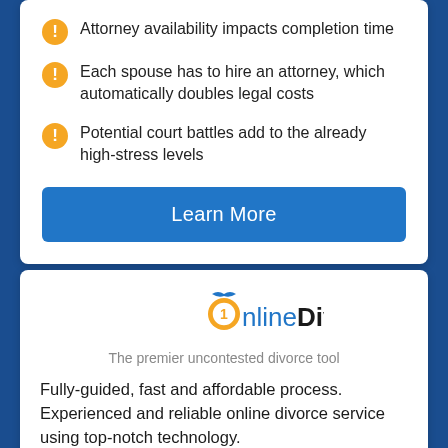Attorney availability impacts completion time
Each spouse has to hire an attorney, which automatically doubles legal costs
Potential court battles add to the already high-stress levels
Learn More
[Figure (logo): OnlineDivorce logo with medal icon and blue bird, text reads OnlineDivorce]
The premier uncontested divorce tool
Fully-guided, fast and affordable process. Experienced and reliable online divorce service using top-notch technology.
Ready-to-file divorce documents can be completed at your